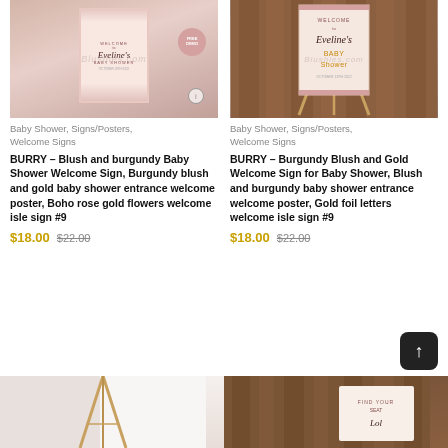[Figure (photo): Baby shower welcome sign with blush and burgundy floral arrangement, showing 'Welcome to Eveline's Baby Shower' text on a pink framed sign, with a FREE DEMO badge and a watermark overlay]
Baby Shower, Signs/Posters, Welcome Signs
BURRY – Blush and burgundy Baby Shower Welcome Sign, Burgundy blush and gold baby shower entrance welcome poster, Boho rose gold flowers welcome isle sign #9
$18.00  $22.00
[Figure (photo): Baby shower welcome sign with burgundy blush and gold design, displayed on a wooden easel against a wood-paneled wall, showing 'Welcome to Eveline's Baby Shower' text with gold lettering and a watermark overlay]
Baby Shower, Signs/Posters, Welcome Signs
BURRY – Burgundy Blush and Gold Welcome Sign for Baby Shower, Blush and burgundy baby shower entrance welcome poster, Gold foil letters welcome isle sign #9
$18.00  $22.00
[Figure (photo): Partial product image showing a light colored background with what appears to be a wooden easel, with a -21% discount badge in the top left corner]
[Figure (photo): Partial product image showing a dark wood background with -28% discount badge in the top left corner and a partially visible sign]